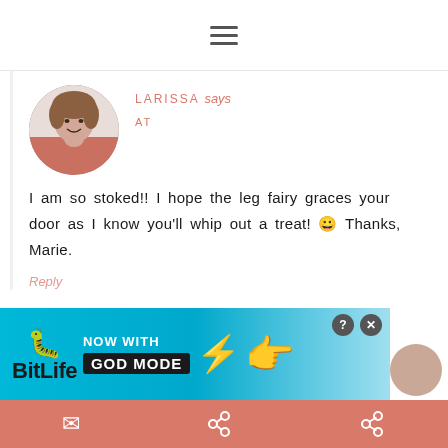≡
LARISSA says
AT
[Figure (photo): Circular avatar photo of a smiling woman wearing a pink top]
I am so stoked!! I hope the leg fairy graces your door as I know you'll whip out a treat! 😀 Thanks, Marie.
Reply
[Figure (screenshot): BitLife advertisement banner with 'NOW WITH GOD MODE' text on blue background with cartoon hands pointing]
✉ Pinterest share